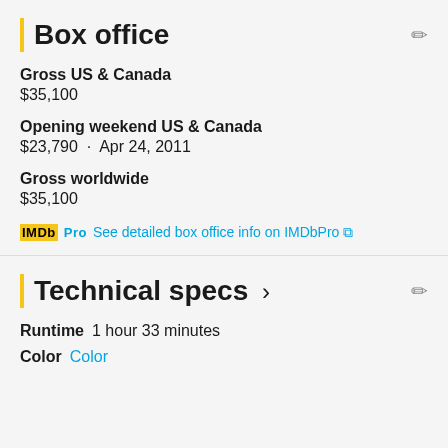Box office
Gross US & Canada
$35,100
Opening weekend US & Canada
$23,790 · Apr 24, 2011
Gross worldwide
$35,100
IMDbPro  See detailed box office info on IMDbPro
Technical specs >
Runtime  1 hour 33 minutes
Color  Color